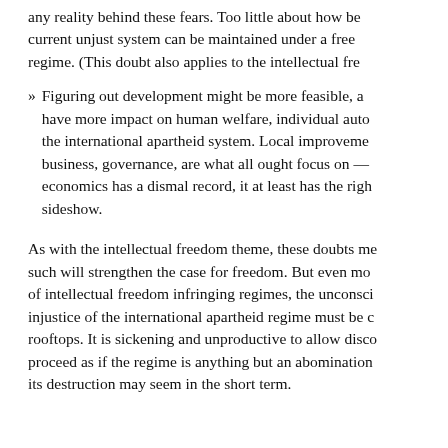any reality behind these fears. Too little about how be current unjust system can be maintained under a free regime. (This doubt also applies to the intellectual fre
Figuring out development might be more feasible, and have more impact on human welfare, individual auto the international apartheid system. Local improvement business, governance, are what all ought focus on — economics has a dismal record, it at least has the righ sideshow.
As with the intellectual freedom theme, these doubts me such will strengthen the case for freedom. But even mo of intellectual freedom infringing regimes, the unconsci injustice of the international apartheid regime must be c rooftops. It is sickening and unproductive to allow disco proceed as if the regime is anything but an abomination its destruction may seem in the short term.